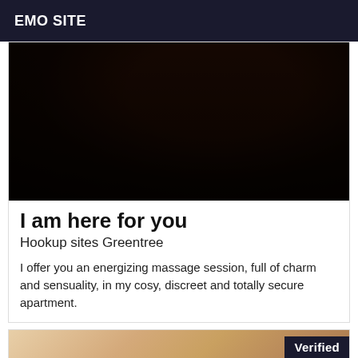EMO SITE
[Figure (photo): Close-up photo of a person's hands and legs]
I am here for you
Hookup sites Greentree
I offer you an energizing massage session, full of charm and sensuality, in my cosy, discreet and totally secure apartment.
[Figure (photo): Close-up photo with a Verified badge in the top right corner]